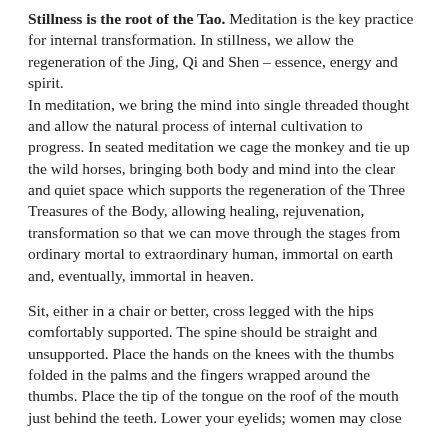Stillness is the root of the Tao. Meditation is the key practice for internal transformation. In stillness, we allow the regeneration of the Jing, Qi and Shen – essence, energy and spirit.
In meditation, we bring the mind into single threaded thought and allow the natural process of internal cultivation to progress. In seated meditation we cage the monkey and tie up the wild horses, bringing both body and mind into the clear and quiet space which supports the regeneration of the Three Treasures of the Body, allowing healing, rejuvenation, transformation so that we can move through the stages from ordinary mortal to extraordinary human, immortal on earth and, eventually, immortal in heaven.
Sit, either in a chair or better, cross legged with the hips comfortably supported. The spine should be straight and unsupported. Place the hands on the knees with the thumbs folded in the palms and the fingers wrapped around the thumbs. Place the tip of the tongue on the roof of the mouth just behind the teeth. Lower your eyelids; women may close